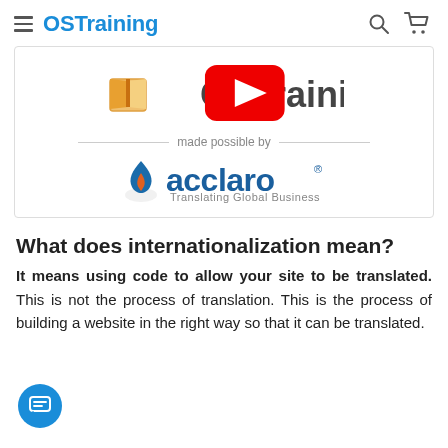OSTraining
[Figure (screenshot): Video thumbnail showing OSTraining logo with a YouTube play button overlay, and below it 'made possible by acclaro — Translating Global Business' sponsor line]
What does internationalization mean?
It means using code to allow your site to be translated. This is not the process of translation. This is the process of building a website in the right way so that it can be translated.